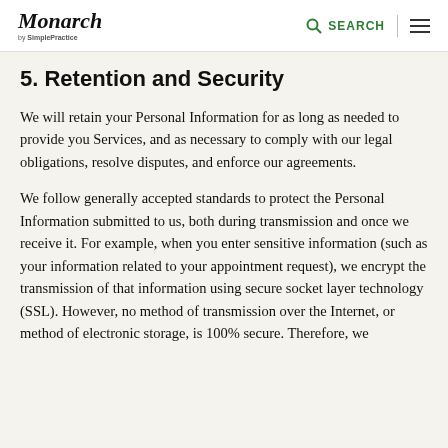Monarch by SimplePractice — SEARCH
5. Retention and Security
We will retain your Personal Information for as long as needed to provide you Services, and as necessary to comply with our legal obligations, resolve disputes, and enforce our agreements.
We follow generally accepted standards to protect the Personal Information submitted to us, both during transmission and once we receive it. For example, when you enter sensitive information (such as your information related to your appointment request), we encrypt the transmission of that information using secure socket layer technology (SSL). However, no method of transmission over the Internet, or method of electronic storage, is 100% secure. Therefore, we